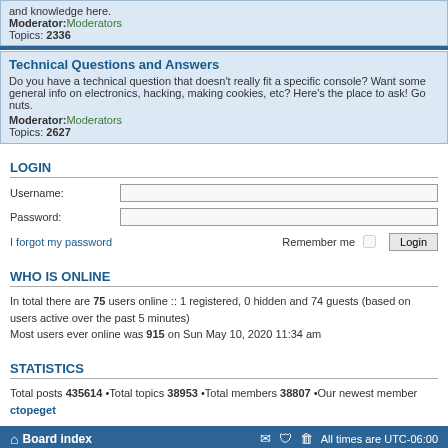and knowledge here.
Moderator: Moderators
Topics: 2336
Technical Questions and Answers
Do you have a technical question that doesn't really fit a specific console? Want some general info on electronics, hacking, making cookies, etc? Here's the place to ask! Go nuts.
Moderator: Moderators
Topics: 2627
LOGIN
Username:
Password:
I forgot my password    Remember me  Login
WHO IS ONLINE
In total there are 75 users online :: 1 registered, 0 hidden and 74 guests (based on users active over the past 5 minutes)
Most users ever online was 915 on Sun May 10, 2020 11:34 am
STATISTICS
Total posts 435614 •Total topics 38953 •Total members 38807 •Our newest member ctopeget
Board index   All times are UTC-06:00
Powered by phpBB® Forum Software © phpBB Limited